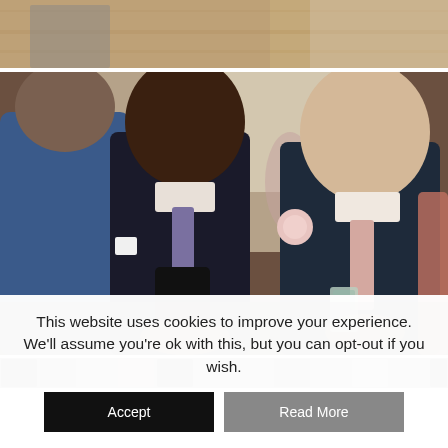[Figure (photo): Top portion of a partial photo showing a wooden floor venue, partially visible people's feet and legs, suggesting a wedding or event setting.]
[Figure (photo): Wedding reception photo showing two men in dark suits looking at a phone. The man on the left is dark-skinned with a dark tie, the man on the right is light-skinned wearing a pink/blush tie and a flower boutonniere, holding a small glass. They are surrounded by other guests in a bright venue.]
[Figure (photo): A horizontal thumbnail strip of small wedding photo previews.]
This website uses cookies to improve your experience. We'll assume you're ok with this, but you can opt-out if you wish.